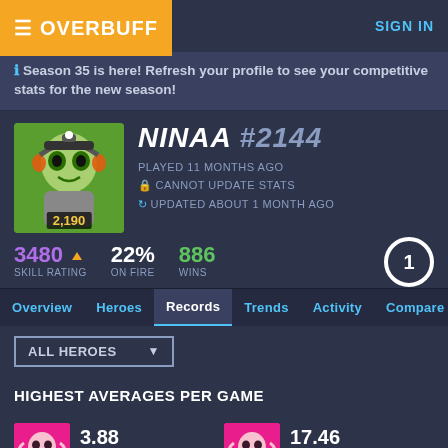OVERBUFF  SIGN IN
Season 35 is here! Refresh your profile to see your competitive stats for the new season!
NINAA #2144
PLAYED 11 MONTHS AGO
CANNOT UPDATE STATS
UPDATED ABOUT 1 MONTH AGO
2,190
3480 SKILL RATING  22% ON FIRE  886 WINS
Overview  Heroes  Records  Trends  Activity  Compare
ALL HEROES
HIGHEST AVERAGES PER GAME
3.88
ELIMINATION RATIO
ABOUT 1 YEAR AGO
17.46
ELIMINATIONS
ABOUT 1 YEAR AGO
6.98
OBJECTIVE KILLS
01:07
OBJECTIVE TIME